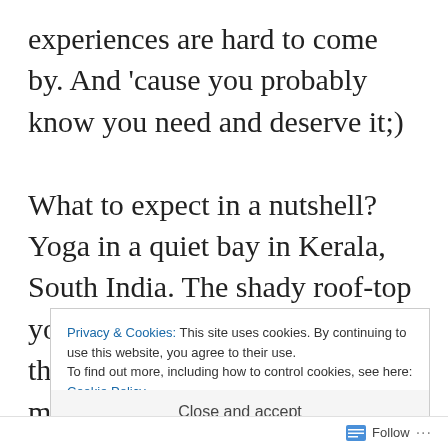experiences are hard to come by. And 'cause you probably know you need and deserve it;)
What to expect in a nutshell? Yoga in a quiet bay in Kerala, South India. The shady roof-top yoga shala looks straight out at the ocean. Twice daily classes most days. Plenty of free time. Delicious food. Lots of fresh air. All levels, ages and backgrounds welcome. Unity. Transformation.
Privacy & Cookies: This site uses cookies. By continuing to use this website, you agree to their use.
To find out more, including how to control cookies, see here: Cookie Policy
Close and accept
Follow ...